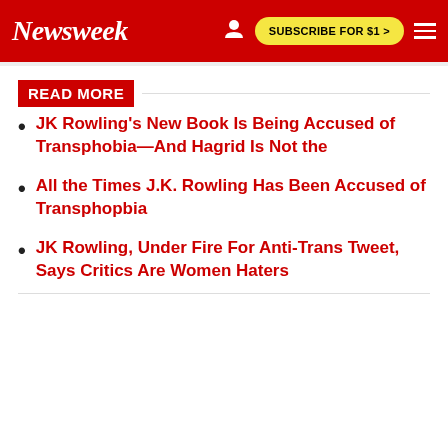Newsweek | SUBSCRIBE FOR $1 >
READ MORE
JK Rowling's New Book Is Being Accused of Transphobia—And Hagrid Is Not the
All the Times J.K. Rowling Has Been Accused of Transphopbia
JK Rowling, Under Fire For Anti-Trans Tweet, Says Critics Are Women Haters